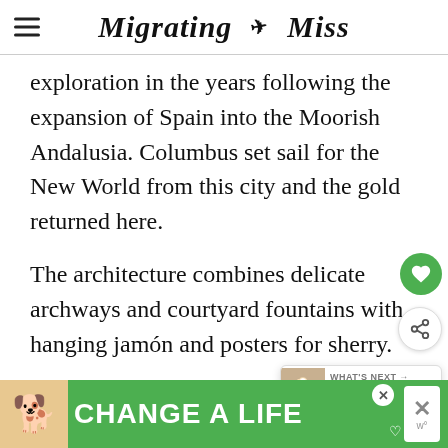Migrating Miss
exploration in the years following the expansion of Spain into the Moorish Andalusia. Columbus set sail for the New World from this city and the gold returned here.
The architecture combines delicate archways and courtyard fountains with hanging jamón and posters for sherry.
Although some tapas dishes will be off limits while pregnant, you'll find enough variety to not feel as though you're missing out. And churros wi...
[Figure (infographic): Green advertisement banner at bottom: dog photo on left, bold white text 'CHANGE A LIFE' with heart icon, close and X buttons]
[Figure (infographic): What's Next popup card: beer garden image, label 'WHAT'S NEXT', text '18 of the Best Beer Garden...']
[Figure (infographic): Green circular heart (save) button on right side]
[Figure (infographic): White circular share button on right side]